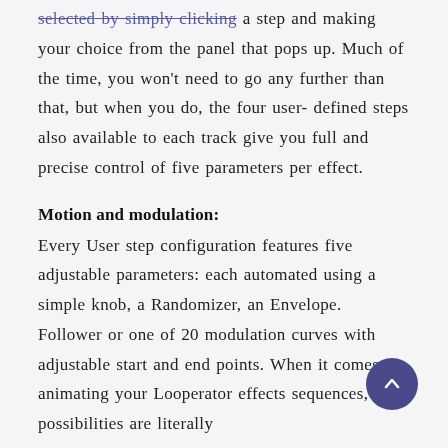selected by simply clicking a step and making your choice from the panel that pops up. Much of the time, you won't need to go any further than that, but when you do, the four user-defined steps also available to each track give you full and precise control of five parameters per effect.
Motion and modulation:
Every User step configuration features five adjustable parameters: each automated using a simple knob, a Randomizer, an Envelope. Follower or one of 20 modulation curves with adjustable start and end points. When it comes to animating your Looperator effects sequences, the possibilities are literally